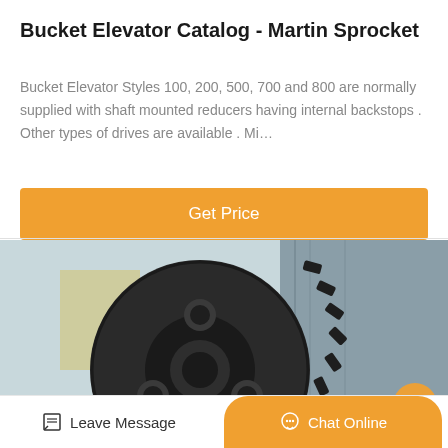Bucket Elevator Catalog - Martin Sprocket
Bucket Elevator Styles 100, 200, 500, 700 and 800 are normally supplied with shaft mounted reducers having internal backstops . Other types of drives are available . Mi…
[Figure (other): Orange 'Get Price' button]
[Figure (photo): Close-up photo of a large black industrial sprocket/gear with toothed rim against a gray metal wall background]
Leave Message
Chat Online